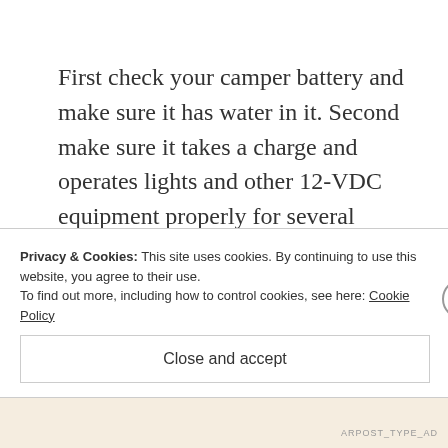First check your camper battery and make sure it has water in it. Second make sure it takes a charge and operates lights and other 12-VDC equipment properly for several hours. Then, that leaves getting your Inverter checked, but this really
Privacy & Cookies: This site uses cookies. By continuing to use this website, you agree to their use. To find out more, including how to control cookies, see here: Cookie Policy
Close and accept